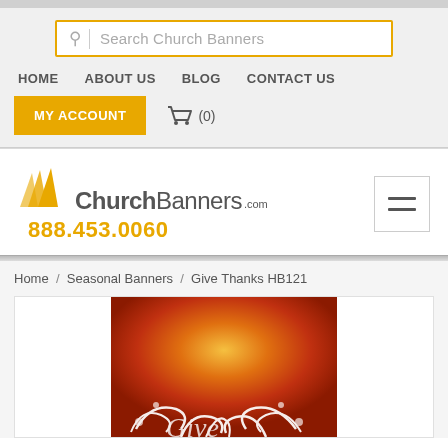Search Church Banners
HOME  ABOUT US  BLOG  CONTACT US
MY ACCOUNT  (0)
[Figure (logo): ChurchBanners.com logo with orange swoosh icon, gray text 'Church' bold and 'Banners' normal, '.com' superscript, phone number 888.453.0060 in orange below]
Home / Seasonal Banners / Give Thanks HB121
[Figure (photo): Give Thanks HB121 church banner product image showing an orange-to-red gradient background with white decorative floral/swirl design and partial cursive text at bottom]